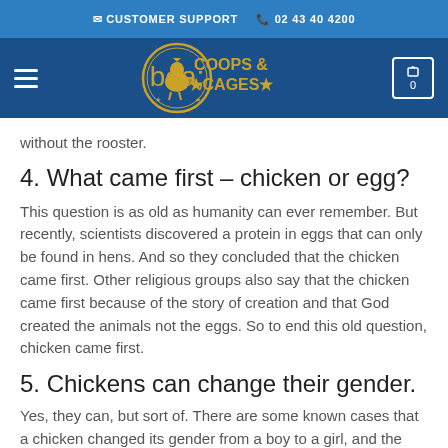CUSTOMER SUPPORT  02 43 40 4200
[Figure (logo): Coops & Cages website navigation bar with hamburger menu, circular rooster logo with 'COOPS & CAGES' text, and cart icon showing 0]
without the rooster.
4. What came first – chicken or egg?
This question is as old as humanity can ever remember. But recently, scientists discovered a protein in eggs that can only be found in hens. And so they concluded that the chicken came first. Other religious groups also say that the chicken came first because of the story of creation and that God created the animals not the eggs. So to end this old question, chicken came first.
5. Chickens can change their gender.
Yes, they can, but sort of. There are some known cases that a chicken changed its gender from a boy to a girl, and the